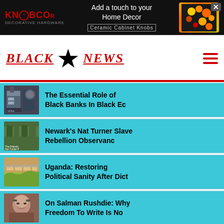[Figure (screenshot): KNOBCO advertisement banner with logo on black background, text 'Add a touch to your Home Decor / Ceramic Cabinet Knobs', decorative flower image on right, close button X]
[Figure (logo): Black Star News logo with 'BLACK' and 'NEWS' in red old-English/gothic font with black star in the center, red underline, hamburger menu icon in red on right]
The Essential Role of Black Banks In Black Ec
Newark's Nat Turner Slave Rebellion Observanc
Uganda: Restoring Political Sanity After Dict
On Salman Rushdie: Why Freedom To Write Is No